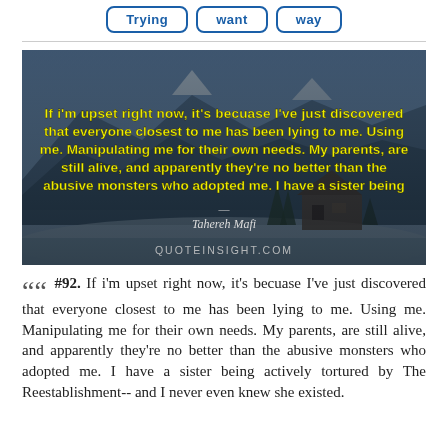Trying | Want | Way
[Figure (photo): A scenic winter landscape with snowy mountains, wooden chalet, and an overlaid quote in yellow bold text: 'If i'm upset right now, it's becuase I've just discovered that everyone closest to me has been lying to me. Using me. Manipulating me for their own needs. My parents, are still alive, and apparently they're no better than the abusive monsters who adopted me. I have a sister being' — attributed to Tahereh Mafi. Watermark: QUOTEINSIGHT.COM]
#92. If i'm upset right now, it's becuase I've just discovered that everyone closest to me has been lying to me. Using me. Manipulating me for their own needs. My parents, are still alive, and apparently they're no better than the abusive monsters who adopted me. I have a sister being actively tortured by The Reestablishment-- and I never even knew she existed.